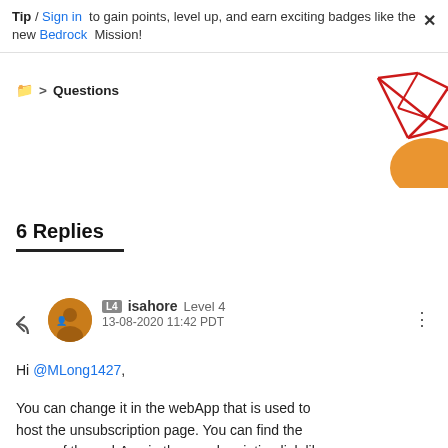Tip / Sign in to gain points, level up, and earn exciting badges like the new Bedrock Mission!
Questions
[Figure (illustration): Decorative geometric red lines and orange shape in top-right corner]
6 Replies
isahore Level 4 13-08-2020 11:42 PDT
Hi @MLong1427,
You can change it in the webApp that is used to host the unsubscription page. You can find the name of the webApp in the unsubscription link like